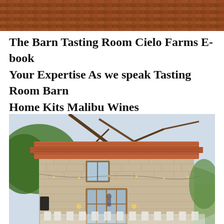[Figure (photo): Top cropped photo showing a terracotta brick/tile pattern, partially visible at the top of the page.]
The Barn Tasting Room Cielo Farms E-book Your Expertise As we speak Tasting Room Barn Home Kits Malibu Wines
[Figure (photo): Photo of a rustic stone building with a terracotta tile roof, wooden French doors, string lights, and outdoor dining setup with white chairs and tables. Trees with bare branches frame the top of the image, and green hills/vineyard are visible in the background.]